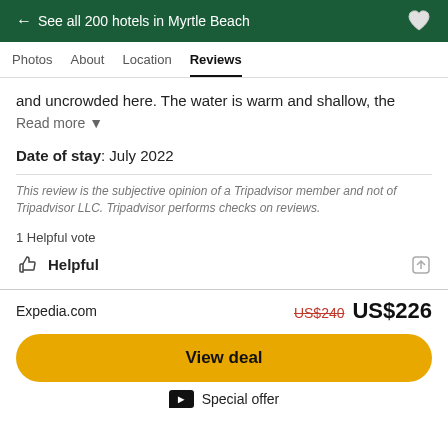← See all 200 hotels in Myrtle Beach
Photos   About   Location   Reviews
and uncrowded here. The water is warm and shallow, the
Read more ▼
Date of stay: July 2022
This review is the subjective opinion of a Tripadvisor member and not of Tripadvisor LLC. Tripadvisor performs checks on reviews.
1 Helpful vote
Helpful
Expedia.com   US$240  US$226
View deal
Special offer